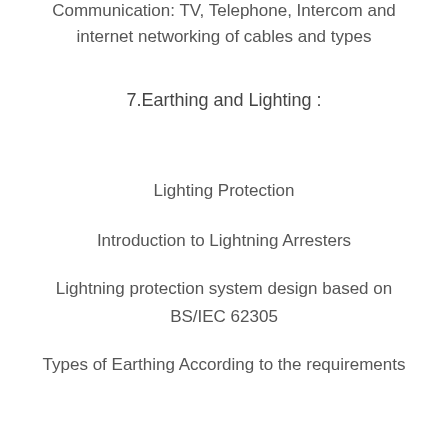Communication: TV, Telephone, Intercom and internet networking of cables and types
7.Earthing and Lighting :
Lighting Protection
Introduction to Lightning Arresters
Lightning protection system design based on BS/IEC 62305
Types of Earthing According to the requirements